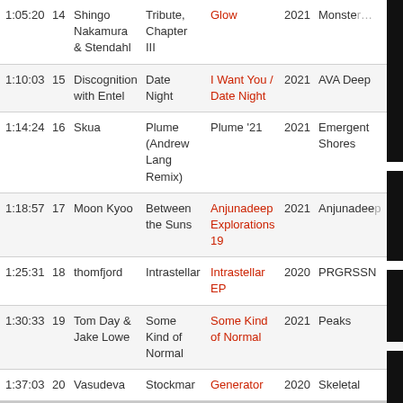| Time | # | Artist | Track | Release | Year | Label |
| --- | --- | --- | --- | --- | --- | --- |
| 1:05:20 | 14 | Shingo Nakamura & Stendahl | Tribute, Chapter III | Glow | 2021 | Monster… |
| 1:10:03 | 15 | Discognition with Entel | Date Night | I Want You / Date Night | 2021 | AVA Deep |
| 1:14:24 | 16 | Skua | Plume (Andrew Lang Remix) | Plume '21 | 2021 | Emergent Shores |
| 1:18:57 | 17 | Moon Kyoo | Between the Suns | Anjunadeep Explorations 19 | 2021 | Anjunadee… |
| 1:25:31 | 18 | thomfjord | Intrastellar | Intrastellar EP | 2020 | PRGRSSN |
| 1:30:33 | 19 | Tom Day & Jake Lowe | Some Kind of Normal | Some Kind of Normal | 2021 | Peaks |
| 1:37:03 | 20 | Vasudeva | Stockmar | Generator | 2020 | Skeletal… |